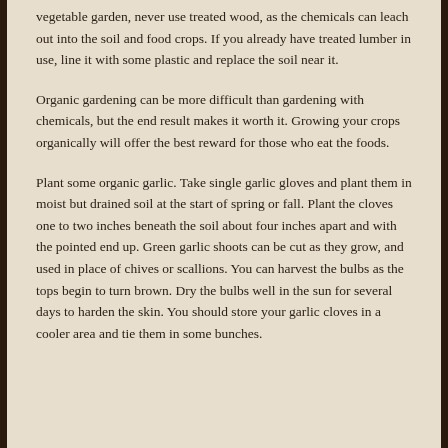vegetable garden, never use treated wood, as the chemicals can leach out into the soil and food crops. If you already have treated lumber in use, line it with some plastic and replace the soil near it.
Organic gardening can be more difficult than gardening with chemicals, but the end result makes it worth it. Growing your crops organically will offer the best reward for those who eat the foods.
Plant some organic garlic. Take single garlic gloves and plant them in moist but drained soil at the start of spring or fall. Plant the cloves one to two inches beneath the soil about four inches apart and with the pointed end up. Green garlic shoots can be cut as they grow, and used in place of chives or scallions. You can harvest the bulbs as the tops begin to turn brown. Dry the bulbs well in the sun for several days to harden the skin. You should store your garlic cloves in a cooler area and tie them in some bunches.